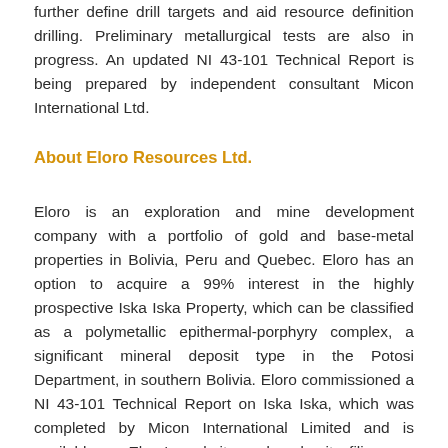further define drill targets and aid resource definition drilling. Preliminary metallurgical tests are also in progress. An updated NI 43-101 Technical Report is being prepared by independent consultant Micon International Ltd.
About Eloro Resources Ltd.
Eloro is an exploration and mine development company with a portfolio of gold and base-metal properties in Bolivia, Peru and Quebec. Eloro has an option to acquire a 99% interest in the highly prospective Iska Iska Property, which can be classified as a polymetallic epithermal-porphyry complex, a significant mineral deposit type in the Potosi Department, in southern Bolivia. Eloro commissioned a NI 43-101 Technical Report on Iska Iska, which was completed by Micon International Limited and is available on Eloro's website and under its filings on SEDAR. Iska Iska is a road-accessible, royalty-free